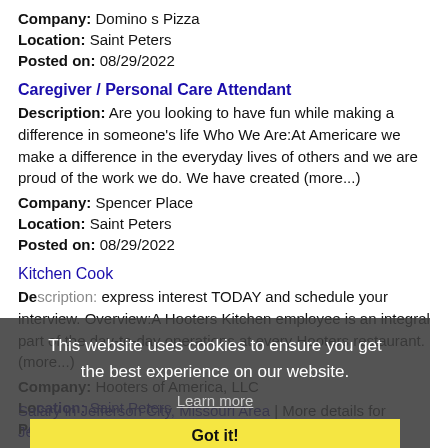Company: Domino s Pizza
Location: Saint Peters
Posted on: 08/29/2022
Caregiver / Personal Care Attendant
Description: Are you looking to have fun while making a difference in someone's life Who We Are:At Americare we make a difference in the everyday lives of others and we are proud of the work we do. We have created (more...)
Company: Spencer Place
Location: Saint Peters
Posted on: 08/29/2022
Kitchen Cook
Description: ... express interest TODAY and schedule your interview. Overview:A Hooters Kitchen employee is an integral part of the day-to-day operations at every Hooters restaurant. (more...)
Company: Hooters of America, LLC
Location: Saint Peters
Posted on: 08/29/2022
This website uses cookies to ensure you get the best experience on our website.
Learn more
Got it!
Salary in Jefferson City, Missouri Area | More details for Jefferson City, Missouri Jobs|Salary